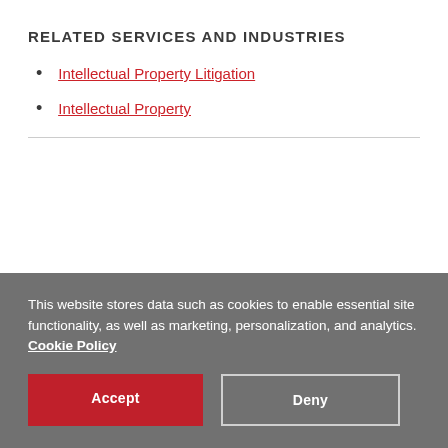RELATED SERVICES AND INDUSTRIES
Intellectual Property Litigation
Intellectual Property
This website stores data such as cookies to enable essential site functionality, as well as marketing, personalization, and analytics. Cookie Policy
Accept
Deny